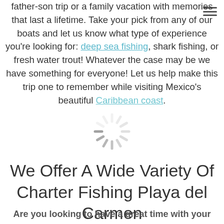father-son trip or a family vacation with memories that last a lifetime. Take your pick from any of our boats and let us know what type of experience you're looking for: deep sea fishing, shark fishing, or fresh water trout! Whatever the case may be we have something for everyone! Let us help make this trip one to remember while visiting Mexico's beautiful Caribbean coast.
[Figure (other): Loading spinner / activity indicator graphic in light gray]
We Offer A Wide Variety Of Charter Fishing Playa del Carmen
Are you looking to have a great time with your